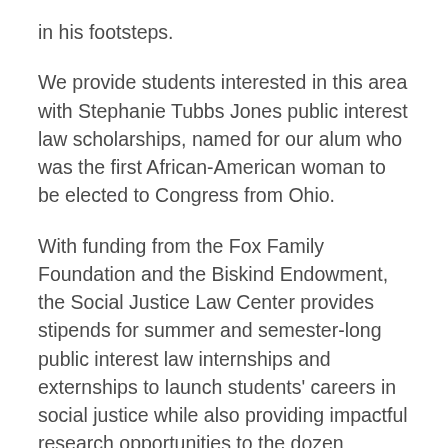in his footsteps.
We provide students interested in this area with Stephanie Tubbs Jones public interest law scholarships, named for our alum who was the first African-American woman to be elected to Congress from Ohio.
With funding from the Fox Family Foundation and the Biskind Endowment, the Social Justice Law Center provides stipends for summer and semester-long public interest law internships and externships to launch students' careers in social justice while also providing impactful research opportunities to the dozen Stephanie Tubbs Jones Scholars in each class.